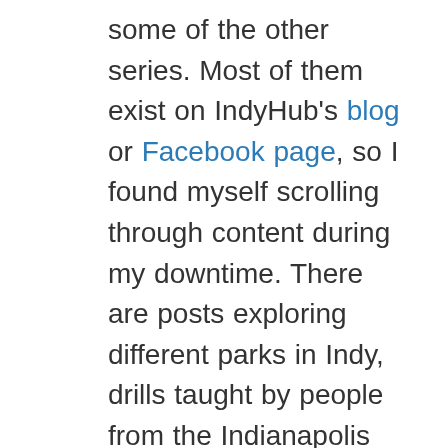some of the other series. Most of them exist on IndyHub's blog or Facebook page, so I found myself scrolling through content during my downtime. There are posts exploring different parks in Indy, drills taught by people from the Indianapolis Colts, and science-backed mental health tips. I didn't even scratch the surface of all the different programming in this blog, so I urge you to check some out yourself. It's a great way to get to know Indianapolis, have some fun, and pick up new skills along the way. Catch me making pasta carbonara with a blackberry mojito every day for the next year. I had such a great time experiencing my city virtually,